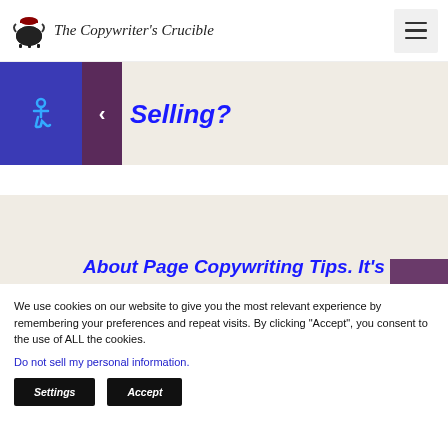The Copywriter's Crucible
Selling?
About Page Copywriting Tips. It's Not About You, it's About the Customer
We use cookies on our website to give you the most relevant experience by remembering your preferences and repeat visits. By clicking “Accept”, you consent to the use of ALL the cookies.
Do not sell my personal information.
Settings
Accept